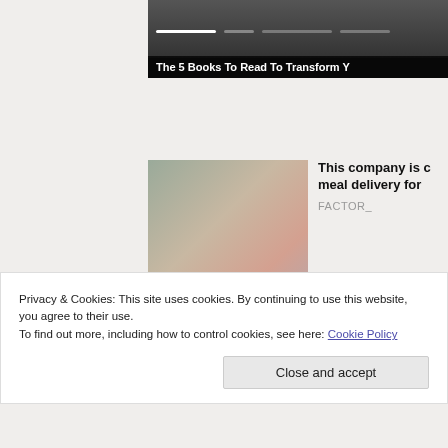[Figure (screenshot): Top banner with dark background showing a book-related article with progress bars and title 'The 5 Books To Read To Transform Y...']
The 5 Books To Read To Transform Y
[Figure (photo): Article card showing meal delivery food containers and a woman eating, with headline 'This company is changing meal delivery for...' and source 'FACTOR_']
This company is changing meal delivery for
FACTOR_
Privacy & Cookies: This site uses cookies. By continuing to use this website, you agree to their use.
To find out more, including how to control cookies, see here: Cookie Policy
Close and accept